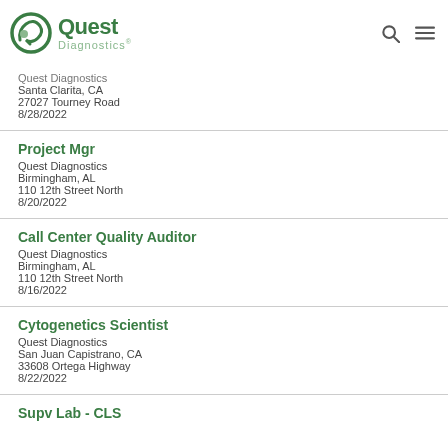Quest Diagnostics
Quest Diagnostics
Santa Clarita, CA
27027 Tourney Road
8/28/2022
Project Mgr
Quest Diagnostics
Birmingham, AL
110 12th Street North
8/20/2022
Call Center Quality Auditor
Quest Diagnostics
Birmingham, AL
110 12th Street North
8/16/2022
Cytogenetics Scientist
Quest Diagnostics
San Juan Capistrano, CA
33608 Ortega Highway
8/22/2022
Supv Lab - CLS